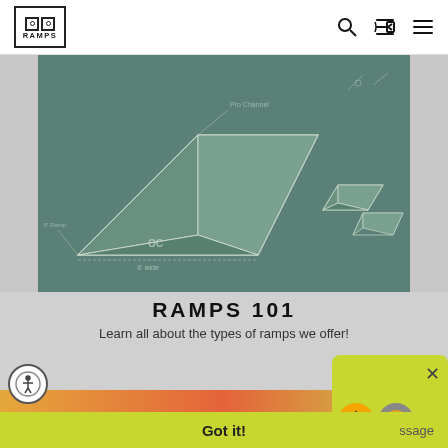OC RAMPS
[Figure (illustration): Sketch-style illustration of skate ramps on a teal/green background showing quarter pipes, boxes, and rails with annotations]
RAMPS 101
Learn all about the types of ramps we offer!
[Figure (screenshot): Yellow-green popup panel with navigation menu items partially visible: IES, S, DECKS and two circular icon logos]
This website uses cookies to ensure you get the best experience on our website.
Learn more
Got it!
ssage